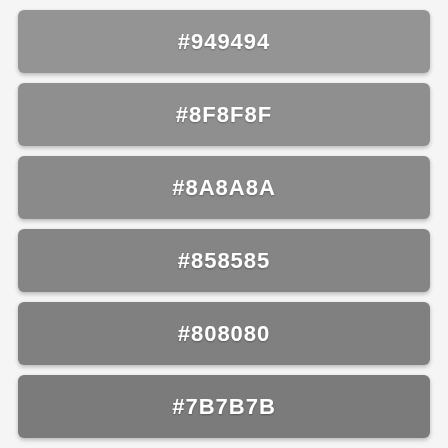[Figure (infographic): Color swatch showing #949494 gray]
[Figure (infographic): Color swatch showing #8F8F8F gray]
[Figure (infographic): Color swatch showing #8A8A8A gray]
[Figure (infographic): Color swatch showing #858585 gray]
[Figure (infographic): Color swatch showing #808080 gray]
[Figure (infographic): Color swatch showing #7B7B7B gray]